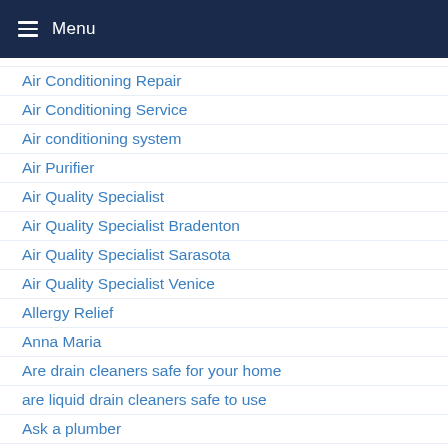Menu
Air Conditioning Repair
Air Conditioning Service
Air conditioning system
Air Purifier
Air Quality Specialist
Air Quality Specialist Bradenton
Air Quality Specialist Sarasota
Air Quality Specialist Venice
Allergy Relief
Anna Maria
Are drain cleaners safe for your home
are liquid drain cleaners safe to use
Ask a plumber
Ask the right questions before hiring a plumber
Average lifespan of a garbage disposal
Avoid AC Problems
Avoid high water bills